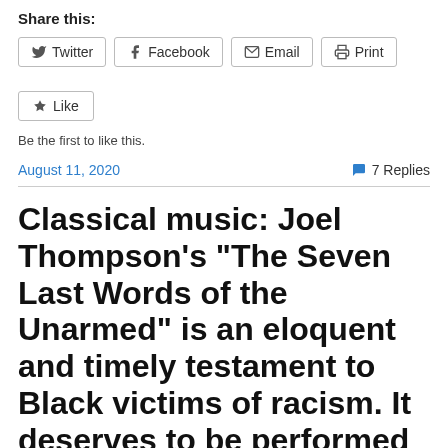Share this:
Twitter
Facebook
Email
Print
Like
Be the first to like this.
August 11, 2020
7 Replies
Classical music: Joel Thompson’s “The Seven Last Words of the Unarmed” is an eloquent and timely testament to Black victims of racism. It deserves to be performed in